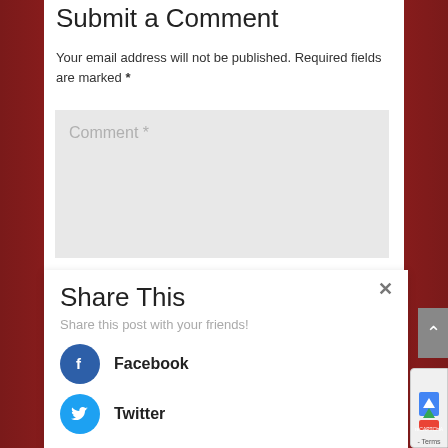Submit a Comment
Your email address will not be published. Required fields are marked *
[Figure (screenshot): Comment text input field placeholder showing 'Comment *' in gray on a light gray background]
Share This
Share this post with your friends!
Facebook
Twitter